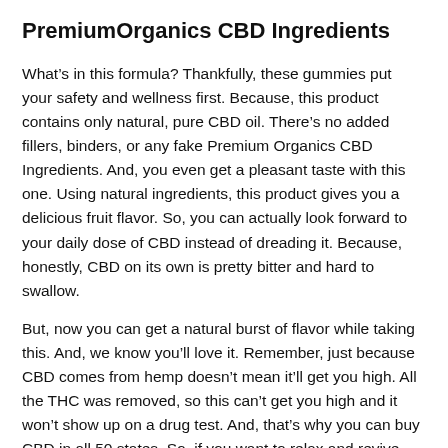PremiumOrganics CBD Ingredients
What’s in this formula? Thankfully, these gummies put your safety and wellness first. Because, this product contains only natural, pure CBD oil. There’s no added fillers, binders, or any fake Premium Organics CBD Ingredients. And, you even get a pleasant taste with this one. Using natural ingredients, this product gives you a delicious fruit flavor. So, you can actually look forward to your daily dose of CBD instead of dreading it. Because, honestly, CBD on its own is pretty bitter and hard to swallow.
But, now you can get a natural burst of flavor while taking this. And, we know you’ll love it. Remember, just because CBD comes from hemp doesn’t mean it’ll get you high. All the THC was removed, so this can’t get you high and it won’t show up on a drug test. And, that’s why you can buy CBD in all 50 states. So, if you want to relax and revive yourself with a natural solution, this is your best bet. Click any image on this page to get a low Premium Organics CBD Price and try this out now!